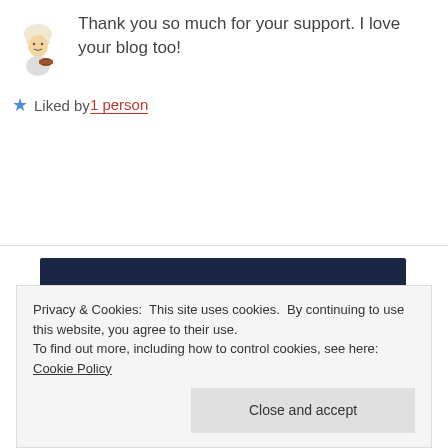[Figure (illustration): Small cartoon avatar of a chef or cook character holding a bowl]
Thank you so much for your support. I love your blog too!
★ Liked by 1 person
[Figure (infographic): Dark navy advertisement banner reading 'Opinions. We all have them!' with a pink 'Start a survey' button and CrowdSignal logo]
Privacy & Cookies: This site uses cookies. By continuing to use this website, you agree to their use.
To find out more, including how to control cookies, see here: Cookie Policy
Close and accept